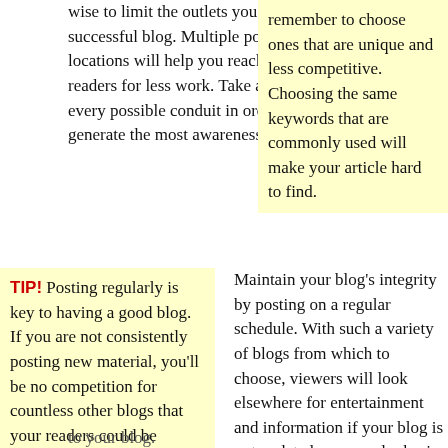wise to limit the outlets you have for a successful blog. Multiple posting locations will help you reach more readers for less work. Take advantage of every possible conduit in order to generate the most awareness possible.
remember to choose ones that are unique and less competitive. Choosing the same keywords that are commonly used will make your article hard to find.
TIP! Posting regularly is key to having a good blog. If you are not consistently posting new material, you'll be no competition for countless other blogs that your readers could be reading.
Maintain your blog's integrity by posting on a regular schedule. With such a variety of blogs from which to choose, viewers will look elsewhere for entertainment and information if your blog is not updated on a regular basis. Holidays are one exception, but you should be consistently posting
to your blog.